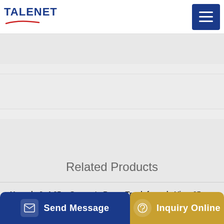TALENET
[Figure (photo): Background hero image area showing textured surface, mostly white/light gray]
Related Products
Hongda 6x4 65m Concrete Pump Truck for sale View 65m
180 cubic meters per hour concrete plant for sale in camarines
Factory directly sale top quality Concrete Truck Mixer Price
Send Message
Inquiry Online